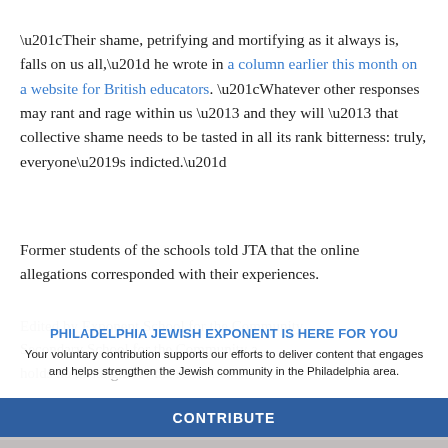“Their shame, petrifying and mortifying as it always is, falls on us all,” he wrote in a column earlier this month on a website for British educators. “Whatever other responses may rant and rage within us – and they will – that collective shame needs to be tasted in all its rank bitterness: truly, everyone’s indicted.”
Former students of the schools told JTA that the online allegations corresponded with their experiences.
Ed... Secondary... holds no nostalgia for the school.
PHILADELPHIA JEWISH EXPONENT IS HERE FOR YOU
Your voluntary contribution supports our efforts to deliver content that engages and helps strengthen the Jewish community in the Philadelphia area.
CONTRIBUTE